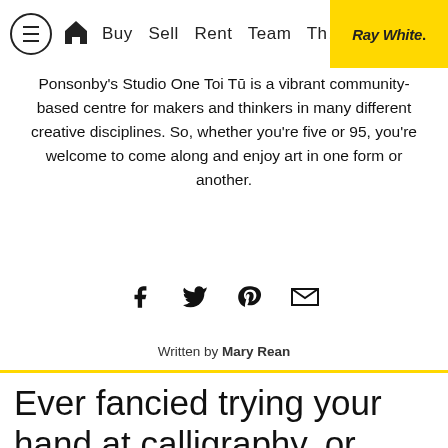≡  🏠  Buy  Sell  Rent  Team  The  Ray White.
Ponsonby's Studio One Toi Tū is a vibrant community-based centre for makers and thinkers in many different creative disciplines. So, whether you're five or 95, you're welcome to come along and enjoy art in one form or another.
[Figure (infographic): Social share icons: Facebook, Twitter, Pinterest, Email]
Written by Mary Rean
Ever fancied trying your hand at calligraphy, or maybe you've always wanted to make perfume,